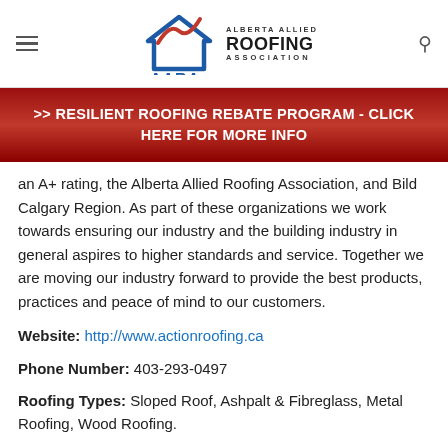Alberta Allied Roofing Association (AARA) — navigation header
>> RESILIENT ROOFING REBATE PROGRAM - CLICK HERE FOR MORE INFO
an A+ rating, the Alberta Allied Roofing Association, and Bild Calgary Region. As part of these organizations we work towards ensuring our industry and the building industry in general aspires to higher standards and service. Together we are moving our industry forward to provide the best products, practices and peace of mind to our customers.
Website: http://www.actionroofing.ca
Phone Number: 403-293-0497
Roofing Types: Sloped Roof, Ashpalt & Fibreglass, Metal Roofing, Wood Roofing.